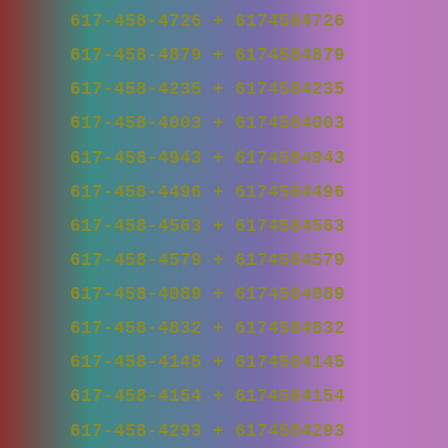617-458-4726 + 6174584726
617-458-4879 + 6174584879
617-458-4235 + 6174584235
617-458-4003 + 6174584003
617-458-4943 + 6174584943
617-458-4496 + 6174584496
617-458-4563 + 6174584563
617-458-4579 + 6174584579
617-458-4089 + 6174584089
617-458-4832 + 6174584832
617-458-4145 + 6174584145
617-458-4154 + 6174584154
617-458-4293 + 6174584293
617-458-4958 + 6174584958
617-458-4763 + 6174584763
617-458-4410 + 6174584410
617-458-4062 + 6174584062
617-458-4474 + 6174584474
617-458-4295 + 6174584295
617-458-4862 + 6174584862
617-458-4666 + 6174584666
617-458-4861 + 6174584861
617-458-4493 + 6174584493